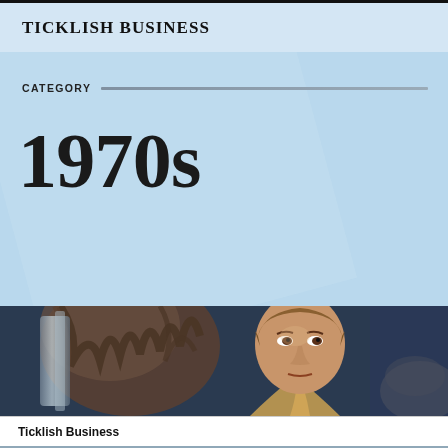TICKLISH BUSINESS
CATEGORY
1970s
[Figure (photo): A man with medium-length brown hair looking upward, photographed in close-up with a dark blue background. Another person with long hair visible on the left, and a partial figure visible at the bottom right.]
Ticklish Business
[Figure (photo): Bottom strip showing additional people, partially visible.]